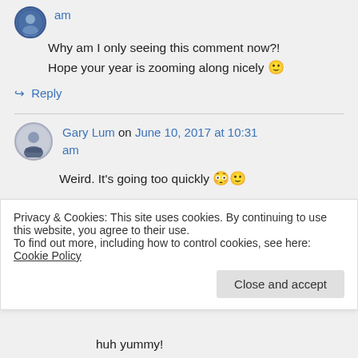am
Why am I only seeing this comment now?! Hope your year is zooming along nicely 🙂
↪ Reply
Gary Lum on June 10, 2017 at 10:31 am
Weird. It's going too quickly 😳🙂
Privacy & Cookies: This site uses cookies. By continuing to use this website, you agree to their use.
To find out more, including how to control cookies, see here: Cookie Policy
Close and accept
huh yummy!